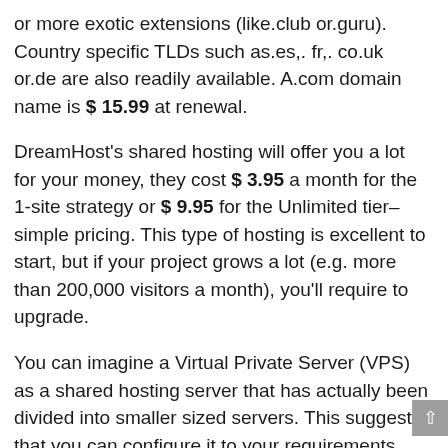or more exotic extensions (like.club or.guru). Country specific TLDs such as.es,. fr,. co.uk or.de are also readily available. A.com domain name is $ 15.99 at renewal.
DreamHost's shared hosting will offer you a lot for your money, they cost $ 3.95 a month for the 1-site strategy or $ 9.95 for the Unlimited tier– simple pricing. This type of hosting is excellent to start, but if your project grows a lot (e.g. more than 200,000 visitors a month), you'll require to upgrade.
You can imagine a Virtual Private Server (VPS) as a shared hosting server that has actually been divided into smaller sized servers. This suggests that you can configure it to your requirements. Therefore, your site will be hosted separately from other clients'– the resources aren't shared either. VPS hosting plans at DreamHost start at $ 13.75 a month and can